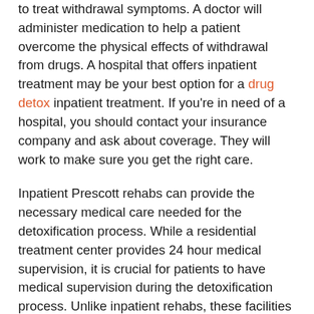to treat withdrawal symptoms. A doctor will administer medication to help a patient overcome the physical effects of withdrawal from drugs. A hospital that offers inpatient treatment may be your best option for a drug detox inpatient treatment. If you're in need of a hospital, you should contact your insurance company and ask about coverage. They will work to make sure you get the right care.
Inpatient Prescott rehabs can provide the necessary medical care needed for the detoxification process. While a residential treatment center provides 24 hour medical supervision, it is crucial for patients to have medical supervision during the detoxification process. Unlike inpatient rehabs, these facilities have a dedicated staff and medical personnel on hand 24 hours a day. As such, they can help their clients overcome the withdrawal symptoms that accompany substance use. And they'll be able to work with a doctor and other professionals.